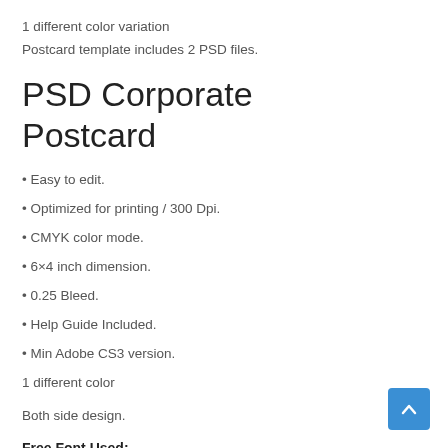1 different color variation
Postcard template includes 2 PSD files.
PSD Corporate Postcard
• Easy to edit.
• Optimized for printing / 300 Dpi.
• CMYK color mode.
• 6×4 inch dimension.
• 0.25 Bleed.
• Help Guide Included.
• Min Adobe CS3 version.
1 different color
Both side design.
Free Font Used:
[Figure (other): Blue scroll-to-top button with upward chevron arrow in bottom right corner]